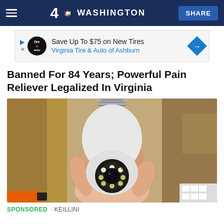4 NBC WASHINGTON  SHARE
[Figure (screenshot): Advertisement banner: Save Up To $75 on New Tires - Virginia Tire & Auto of Ashburn]
Banned For 84 Years; Powerful Pain Reliever Legalized In Virginia
[Figure (photo): A hand holding a white security camera shaped like a light bulb with a screw base, in front of a wooden shelf background]
SPONSORED · KEILLINI